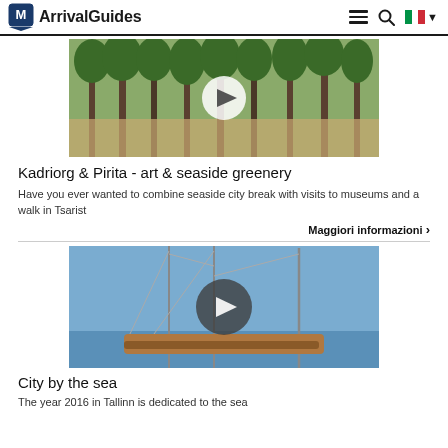ArrivalGuides
[Figure (photo): Park/pathway scene with trees, used as video thumbnail with play button]
Kadriorg & Pirita - art & seaside greenery
Have you ever wanted to combine seaside city break with visits to museums and a walk in Tsarist
Maggiori informazioni ›
[Figure (photo): Sailboats in harbor scene, used as video thumbnail with play button]
City by the sea
The year 2016 in Tallinn is dedicated to the sea